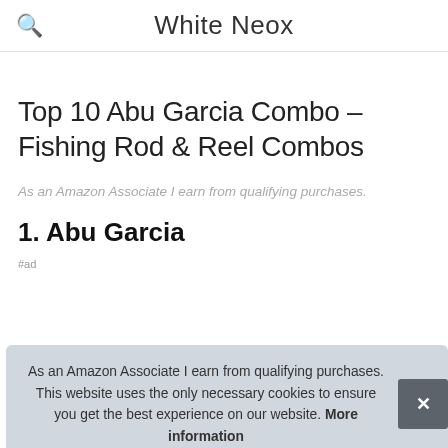White Neox
Top 10 Abu Garcia Combo – Fishing Rod & Reel Combos
As an Amazon Associate I earn from qualifying purchases.
1. Abu Garcia
As an Amazon Associate I earn from qualifying purchases. This website uses the only necessary cookies to ensure you get the best experience on our website. More information